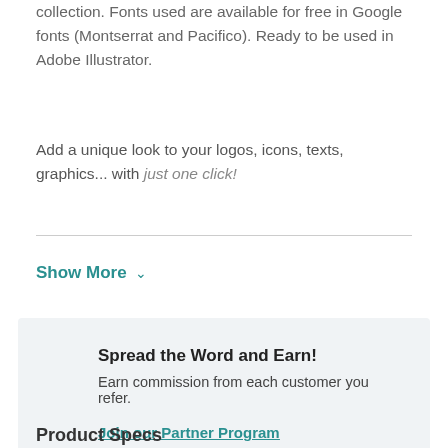collection. Fonts used are available for free in Google fonts (Montserrat and Pacifico). Ready to be used in Adobe Illustrator.
Add a unique look to your logos, icons, texts, graphics... with just one click!
Show More
Spread the Word and Earn!
Earn commission from each customer you refer.
Join our Partner Program
Product Specs